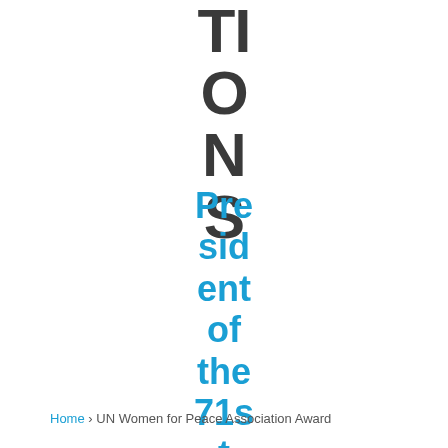TIONS
President of the 71st session
Home › UN Women for Peace Association Award